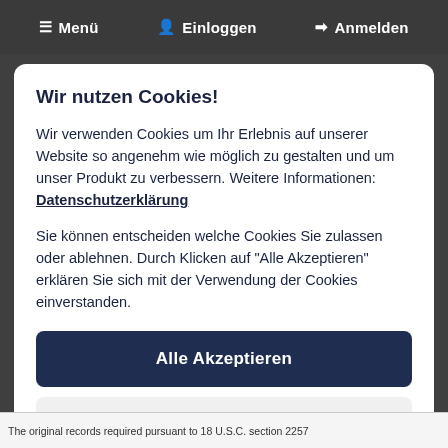≡ Menü  👤 Einloggen  ➡ Anmelden
Wir nutzen Cookies!
Wir verwenden Cookies um Ihr Erlebnis auf unserer Website so angenehm wie möglich zu gestalten und um unser Produkt zu verbessern. Weitere Informationen: Datenschutzerklärung
Sie können entscheiden welche Cookies Sie zulassen oder ablehnen. Durch Klicken auf "Alle Akzeptieren" erklären Sie sich mit der Verwendung der Cookies einverstanden.
Alle Akzeptieren
Einstellungen
The original records required pursuant to 18 U.S.C. section 2257